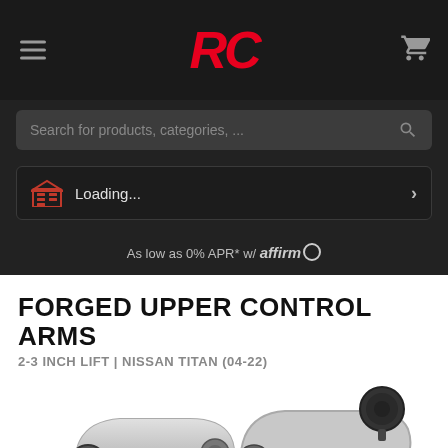RC logo, hamburger menu, cart icon
Search for products, categories, ...
Loading...
As low as 0% APR* w/ affirm
FORGED UPPER CONTROL ARMS
2-3 INCH LIFT | NISSAN TITAN (04-22)
[Figure (photo): Forged upper control arms product photo showing silver metal control arms with black bushings on white background]